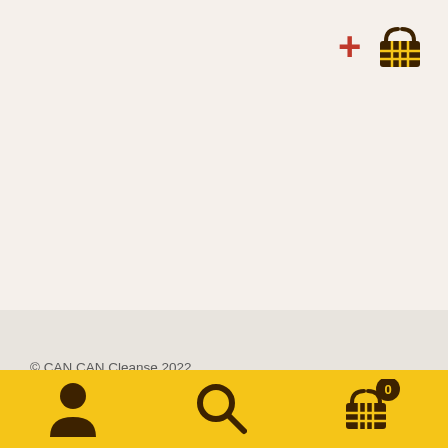[Figure (screenshot): Add to cart icon: red plus sign and dark brown shopping basket icon in top right corner]
[Figure (illustration): Zigzag/sawtooth divider separating upper cream area from lower grey area]
© CAN CAN Cleanse 2022
Privacy Policy.
[Figure (illustration): Bottom navigation bar with user/account icon, search/magnifying glass icon, and shopping basket icon with badge showing 0]